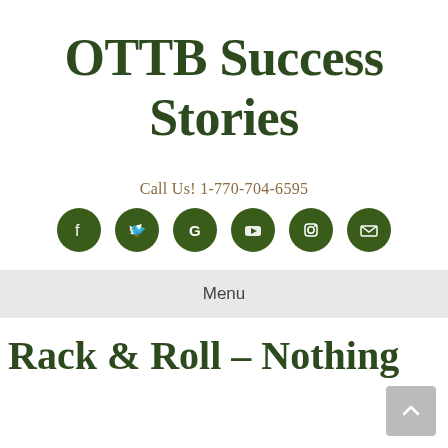OTTB Success Stories
Call Us! 1-770-704-6595
[Figure (infographic): Row of 6 dark green circular social media icons: Facebook, Twitter, Google, YouTube, Instagram, Email]
Menu
Rack & Roll – Nothing